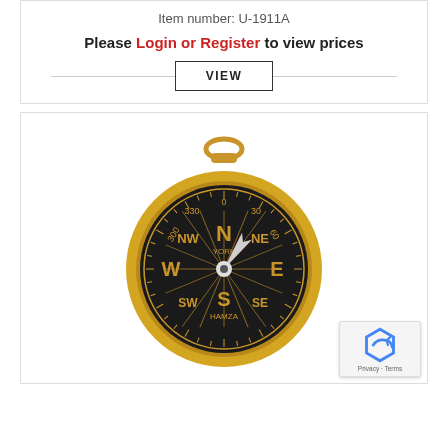Item number: U-1911A
Please Login or Register to view prices
VIEW
[Figure (photo): Gold-cased pocket compass with black face showing cardinal directions (N, NE, E, SE, S, SW, W, NW), degree markings, compass needle, and text 'YORK' and 'HAMZA' on the face. The compass has a gold ring/bail at the top.]